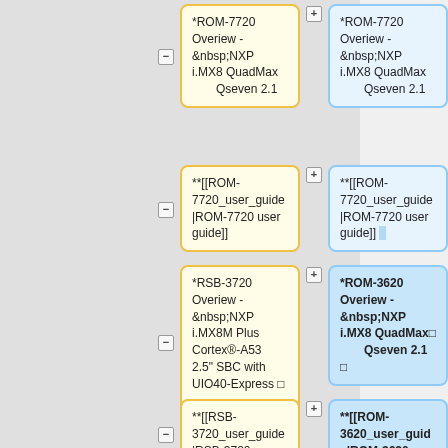[Figure (screenshot): Wiki diff/edit view showing two-column card layout with yellow and blue bordered cards containing wiki markup text for ROM-7720, RSB-3720, and ROM-3620 hardware overview and user guide links. Minus buttons on left column, plus buttons on right column.]